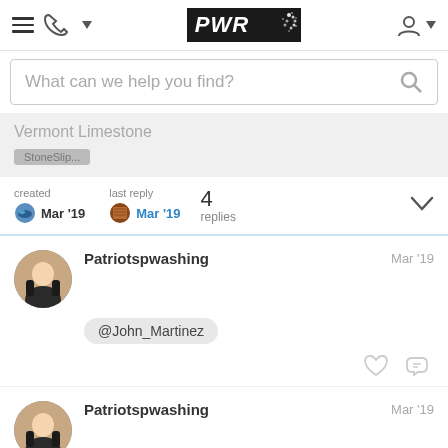PWR
What can we help you find?
Vermont Limestone
created Mar '19  last reply Mar '19  4 replies
Patriotspwashing  Mar '19
@John_Martinez
Patriotspwashing  Mar '19